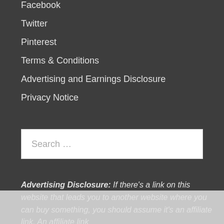Facebook
Twitter
Pinterest
Terms & Conditions
Advertising and Earnings Disclosure
Privacy Notice
Search …
Advertising Disclosure: If there's a link on this website that leads you to another website where you can buy something, you should assume it's an affiliate link. An affiliate link